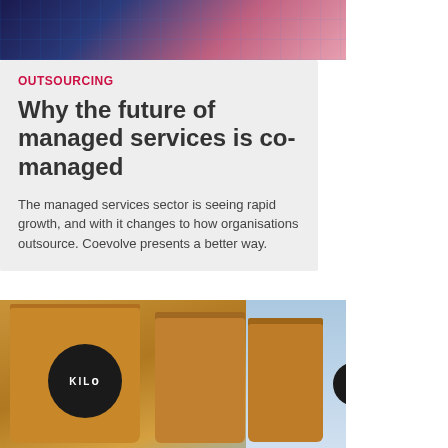[Figure (photo): Abstract technology/cityscape background with blue and pink gradient tones and grid overlay]
OUTSOURCING
Why the future of managed services is co-managed
The managed services sector is seeing rapid growth, and with it changes to how organisations outsource. Coevolve presents a better way.
[Figure (photo): Brown kraft paper coffee/product bags with black circular KILO logo labels, arranged in a row against a light blue background]